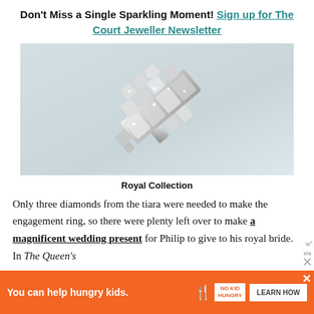Don't Miss a Single Sparkling Moment! Sign up for The Court Jeweller Newsletter
[Figure (photo): Close-up photo of a diamond and platinum Art Deco brooch/clip on a light grey-blue background]
Royal Collection
Only three diamonds from the tiara were needed to make the engagement ring, so there were plenty left over to make a magnificent wedding present for Philip to give to his royal bride. In The Queen's
[Figure (other): Advertisement banner: 'You can help hungry kids.' with No Kid Hungry logo and LEARN HOW button on orange background]